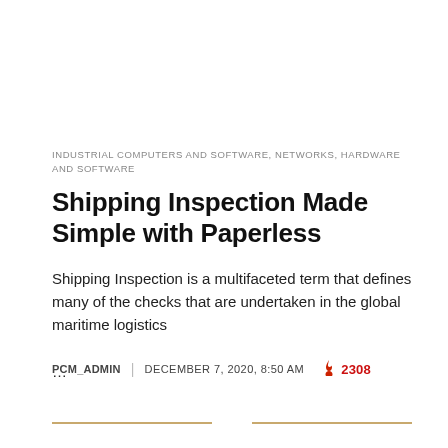INDUSTRIAL COMPUTERS AND SOFTWARE, NETWORKS, HARDWARE AND SOFTWARE
Shipping Inspection Made Simple with Paperless
Shipping Inspection is a multifaceted term that defines many of the checks that are undertaken in the global maritime logistics …
PCM_ADMIN | DECEMBER 7, 2020, 8:50 AM 🔥 2308